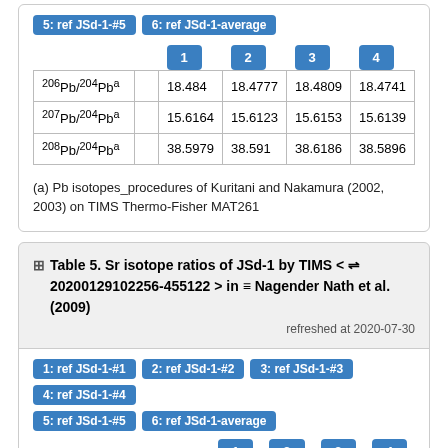5: ref JSd-1-#5
6: ref JSd-1-average
|  |  | 1 | 2 | 3 | 4 |
| --- | --- | --- | --- | --- | --- |
| 206Pb/204Pba |  | 18.484 | 18.4777 | 18.4809 | 18.4741 |
| 207Pb/204Pba |  | 15.6164 | 15.6123 | 15.6153 | 15.6139 |
| 208Pb/204Pba |  | 38.5979 | 38.591 | 38.6186 | 38.5896 |
(a) Pb isotopes_procedures of Kuritani and Nakamura (2002, 2003) on TIMS Thermo-Fisher MAT261
Table 5. Sr isotope ratios of JSd-1 by TIMS < 20200129102256-455122 > in Nagender Nath et al. (2009)   refreshed at 2020-07-30
1: ref JSd-1-#1
2: ref JSd-1-#2
3: ref JSd-1-#3
4: ref JSd-1-#4
5: ref JSd-1-#5
6: ref JSd-1-average
|  |  | 1 | 2 | 3 | 4 |
| --- | --- | --- | --- | --- | --- |